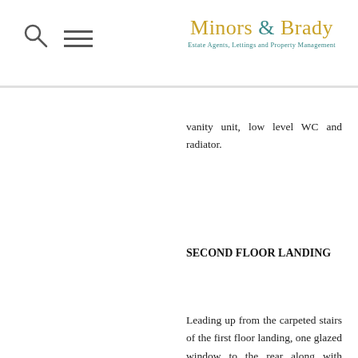Minors & Brady — Estate Agents, Lettings and Property Management
vanity unit, low level WC and radiator.
SECOND FLOOR LANDING
Leading up from the carpeted stairs of the first floor landing, one glazed window to the rear along with doors leading into bedroom one and the family bathroom.